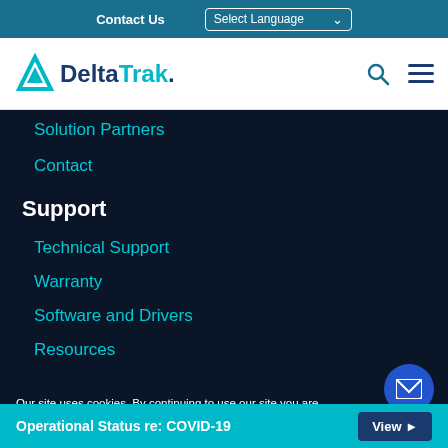Contact Us  Select Language
[Figure (logo): DeltaTrak logo with teal triangle and blue/teal text]
Solution Partners
Contact
Support
Technical Support
Warranty
Software and Drivers
Resources
Our site uses cookies. By continuing to use our site you are agreeing to our cookies policy.
Accept
Operational Status re: COVID-19  View ▶